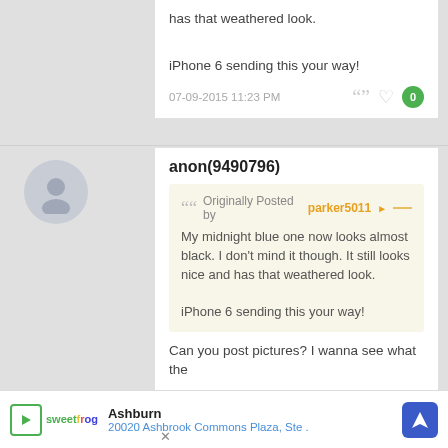has that weathered look.
iPhone 6 sending this way!
07-09-2015 11:23 PM
anon(9490796)
Originally Posted by parker5011
My midnight blue one now looks almost black. I don't mind it though. It still looks nice and has that weathered look.

iPhone 6 sending this your way!
Can you post pictures? I wanna see what the
[Figure (other): Advertisement banner: sweetFrog frozen yogurt, Ashburn, 20020 Ashbrook Commons Plaza, Ste. with navigation icon]